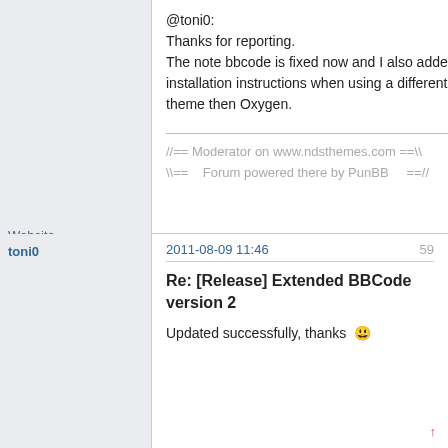@toni0:
Thanks for reporting.
The note bbcode is fixed now and I also added installation instructions when using a different theme then Oxygen.
//== Moderator on www.ndsthemes.com ==\\
\\==    Forum powered there by PunBB     ==//
Website
2011-08-09 11:46
59
toni0
Re: [Release] Extended BBCode version 2
Updated successfully, thanks 😀